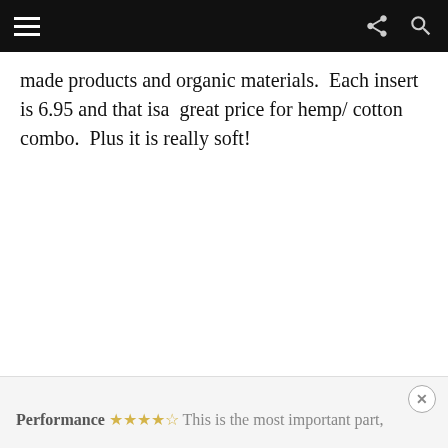[hamburger menu] [share icon] [search icon]
made products and organic materials.  Each insert is 6.95 and that isa  great price for hemp/ cotton combo.  Plus it is really soft!
Performance ★★★★☆ This is the most important part,